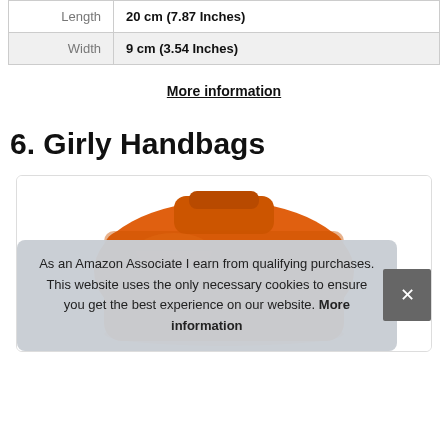|  |  |
| --- | --- |
| Length | 20 cm (7.87 Inches) |
| Width | 9 cm (3.54 Inches) |
More information
6. Girly Handbags
[Figure (photo): Orange handbag product image inside a card]
As an Amazon Associate I earn from qualifying purchases. This website uses the only necessary cookies to ensure you get the best experience on our website. More information